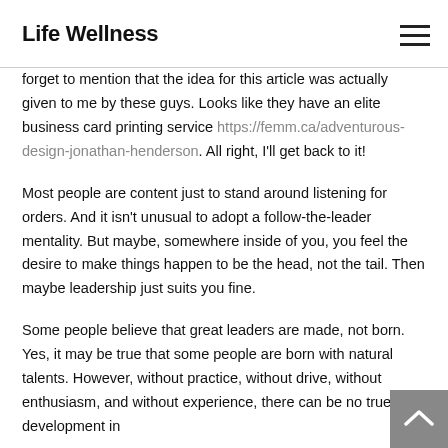Life Wellness
forget to mention that the idea for this article was actually given to me by these guys. Looks like they have an elite business card printing service https://femm.ca/adventurous-design-jonathan-henderson. All right, I'll get back to it!
Most people are content just to stand around listening for orders. And it isn't unusual to adopt a follow-the-leader mentality. But maybe, somewhere inside of you, you feel the desire to make things happen to be the head, not the tail. Then maybe leadership just suits you fine.
Some people believe that great leaders are made, not born. Yes, it may be true that some people are born with natural talents. However, without practice, without drive, without enthusiasm, and without experience, there can be no true development in